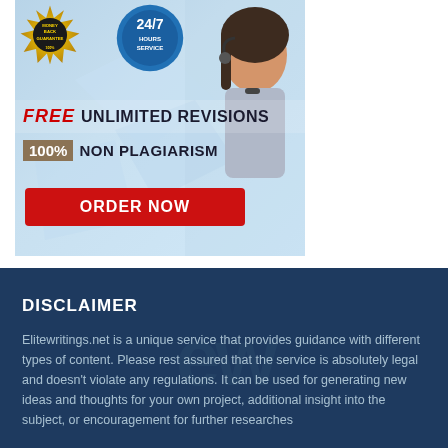[Figure (infographic): Advertisement banner for an essay writing service showing a woman with a headset, a gold 'Money Back Guarantee' badge, a blue '24/7 Hours Service' circle badge, text reading 'FREE UNLIMITED REVISIONS', '100% NON PLAGIARISM', and a red 'ORDER NOW' button.]
DISCLAIMER
Elitewritings.net is a unique service that provides guidance with different types of content. Please rest assured that the service is absolutely legal and doesn't violate any regulations. It can be used for generating new ideas and thoughts for your own project, additional insight into the subject, or encouragement for further researches